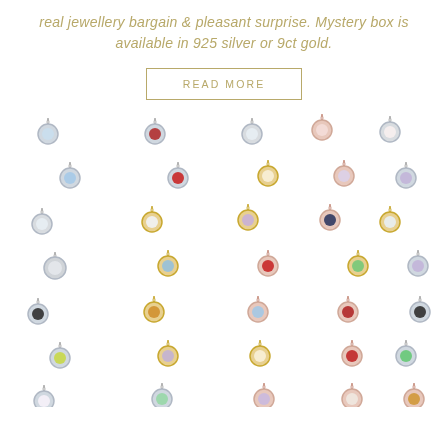real jewellery bargain & pleasant surprise. Mystery box is available in 925 silver or 9ct gold.
READ MORE
[Figure (photo): Grid of assorted jewellery charms with gemstones in various colors, set in silver, gold, and rose gold bezels, displayed on a white background.]